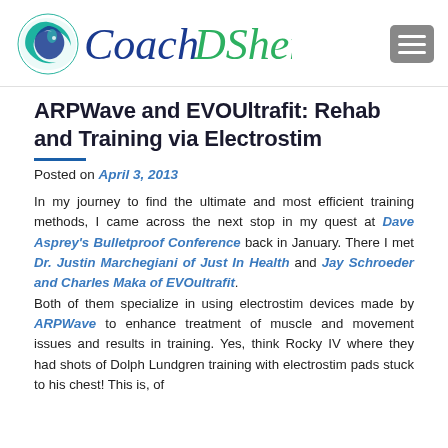[Figure (logo): CoachDShen logo with circular wave icon in blue-green and stylized cursive text]
ARPWave and EVOUltrafit: Rehab and Training via Electrostim
Posted on April 3, 2013
In my journey to find the ultimate and most efficient training methods, I came across the next stop in my quest at Dave Asprey's Bulletproof Conference back in January. There I met Dr. Justin Marchegiani of Just In Health and Jay Schroeder and Charles Maka of EVOultrafit. Both of them specialize in using electrostim devices made by ARPWave to enhance treatment of muscle and movement issues and results in training. Yes, think Rocky IV where they had shots of Dolph Lundgren training with electrostim pads stuck to his chest! This is, of